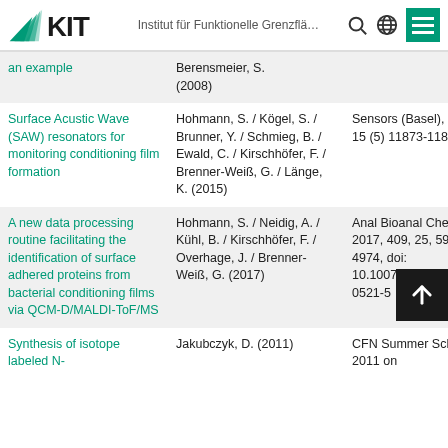KIT — Institut für Funktionelle Grenzflä…
| Title | Authors | Journal |
| --- | --- | --- |
| an example | Berensmeier, S. (2008) |  |
| Surface Acustic Wave (SAW) resonators for monitoring conditioning film formation | Hohmann, S. / Kögel, S. / Brunner, Y. / Schmieg, B. / Ewald, C. / Kirschhöfer, F. / Brenner-Weiß, G. / Länge, K. (2015) | Sensors (Basel), 2015 15 (5) 11873-11888 |
| A new data processing routine facilitating the identification of surface adhered proteins from bacterial conditioning films via QCM-D/MALDI-ToF/MS | Hohmann, S. / Neidig, A. / Kühl, B. / Kirschhöfer, F. / Overhage, J. / Brenner-Weiß, G. (2017) | Anal Bioanal Chem, 2017, 409, 25, 5965-4974, doi: 10.1007/s00216-017-0521-5 |
| Synthesis of isotope labeled N- | Jakubczyk, D. (2011) | CFN Summer School 2011 on |